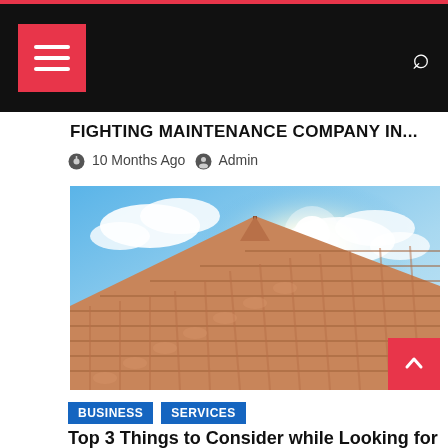Navigation header with hamburger menu and search icon
FIGHTING MAINTENANCE COMPANY IN...
10 Months Ago  Admin
[Figure (photo): Aerial view of terracotta roof tiles against blue sky with bright sun and clouds]
BUSINESS
SERVICES
Top 3 Things to Consider while Looking for